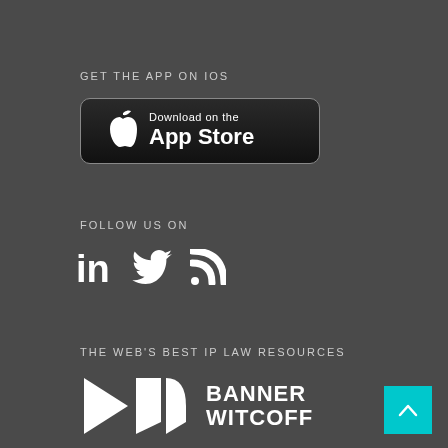GET THE APP ON IOS
[Figure (logo): Download on the App Store button — black rounded rectangle with Apple logo and 'Download on the App Store' text]
FOLLOW US ON
[Figure (logo): Social media icons: LinkedIn, Twitter, RSS feed]
THE WEB'S BEST IP LAW RESOURCES
[Figure (logo): Banner Witcoff logo — white geometric shapes with 'BANNER WITCOFF' text in white, and a cyan scroll-to-top button]